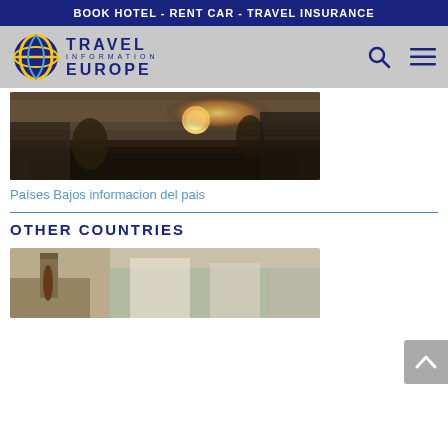BOOK HOTEL  -  RENT CAR  -  TRAVEL INSURANCE
[Figure (logo): Travel Information Europe logo with globe icon and text TRAVEL INFORMATION EUROPE]
[Figure (photo): Crowded European city square at sunset with people walking on cobblestones]
Países Bajos informacion del pais
OTHER COUNTRIES
[Figure (photo): Person holding wine bottle with European estate buildings in background]